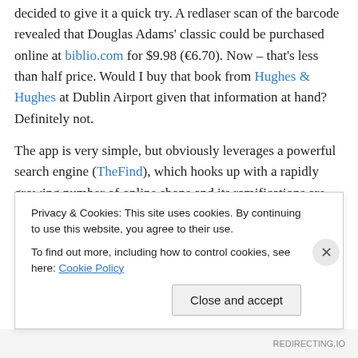decided to give it a quick try. A redlaser scan of the barcode revealed that Douglas Adams' classic could be purchased online at biblio.com for $9.98 (€6.70). Now – that's less than half price. Would I buy that book from Hughes & Hughes at Dublin Airport given that information at hand? Definitely not.
The app is very simple, but obviously leverages a powerful search engine (TheFind), which hooks up with a rapidly growing number of online shops and its ramifications are astounding. It will put far more pressure on retailers to coordinate online and offline offerings minutely and
Privacy & Cookies: This site uses cookies. By continuing to use this website, you agree to their use.
To find out more, including how to control cookies, see here: Cookie Policy